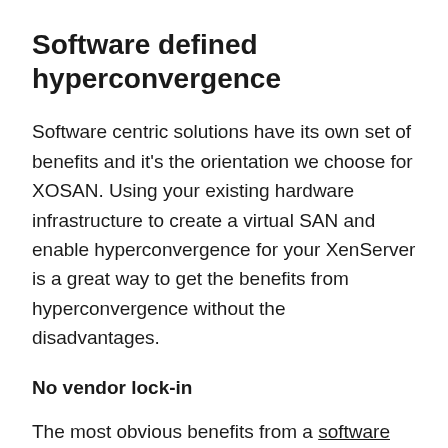Software defined hyperconvergence
Software centric solutions have its own set of benefits and it's the orientation we choose for XOSAN. Using your existing hardware infrastructure to create a virtual SAN and enable hyperconvergence for your XenServer is a great way to get the benefits from hyperconvergence without the disadvantages.
No vendor lock-in
The most obvious benefits from a software defined hyperconvergence solution as XOSAN is that you can use the infrastructure you already have, add the storage solution you want on the long run and